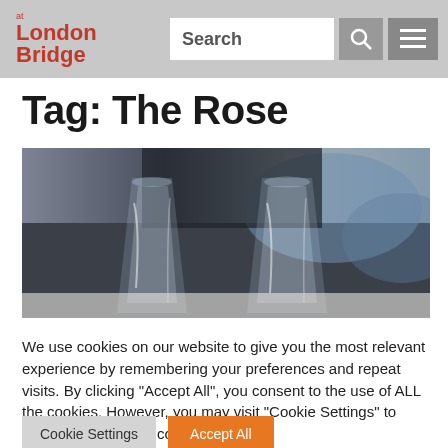at London Bridge — Search
Tag: The Rose
[Figure (photo): Two clear wine glasses clinking together, blurred background with blue and neutral tones]
We use cookies on our website to give you the most relevant experience by remembering your preferences and repeat visits. By clicking "Accept All", you consent to the use of ALL the cookies. However, you may visit "Cookie Settings" to provide a controlled consent.
Cookie Settings   Accept All